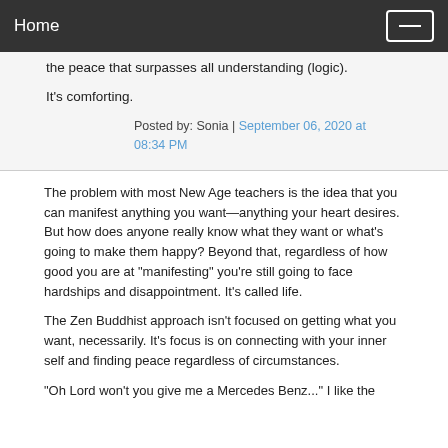Home
the peace that surpasses all understanding (logic).

It's comforting.
Posted by: Sonia | September 06, 2020 at 08:34 PM
The problem with most New Age teachers is the idea that you can manifest anything you want—anything your heart desires. But how does anyone really know what they want or what's going to make them happy? Beyond that, regardless of how good you are at “manifesting” you're still going to face hardships and disappointment. It's called life.
The Zen Buddhist approach isn’t focused on getting what you want, necessarily. It’s focus is on connecting with your inner self and finding peace regardless of circumstances.
“Oh Lord won’t you give me a Mercedes Benz...” I like the